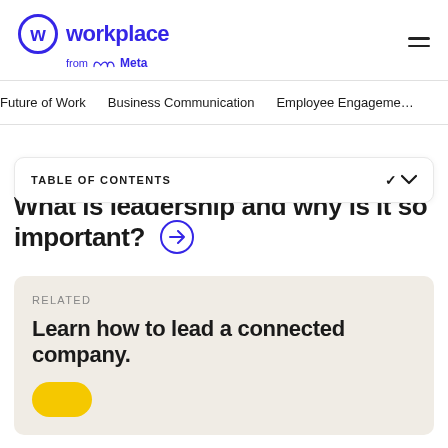[Figure (logo): Workplace from Meta logo — circular W icon in indigo/purple, 'workplace' wordmark, 'from Meta' subtext with Meta infinity logo]
Future of Work   Business Communication   Employee Engagement
TABLE OF CONTENTS
What is leadership and why is it so important? →
RELATED
Learn how to lead a connected company.